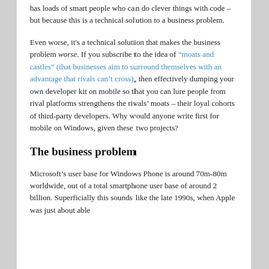has loads of smart people who can do clever things with code – but because this is a technical solution to a business problem.
Even worse, it's a technical solution that makes the business problem worse. If you subscribe to the idea of “moats and castles” (that businesses aim to surround themselves with an advantage that rivals can’t cross), then effectively dumping your own developer kit on mobile so that you can lure people from rival platforms strengthens the rivals’ moats – their loyal cohorts of third-party developers. Why would anyone write first for mobile on Windows, given these two projects?
The business problem
Microsoft’s user base for Windows Phone is around 70m-80m worldwide, out of a total smartphone user base of around 2 billion. Superficially this sounds like the late 1990s, when Apple was just about able